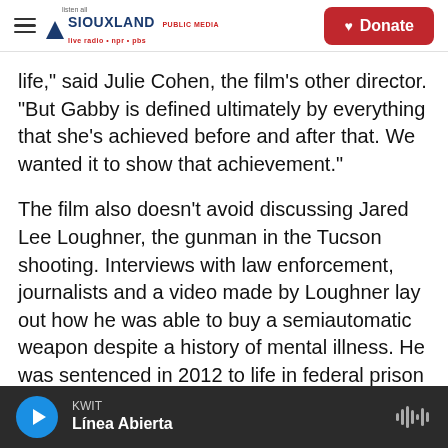Siouxland Public Media — Donate
life," said Julie Cohen, the film's other director. "But Gabby is defined ultimately by everything that she's achieved before and after that. We wanted it to show that achievement."
The film also doesn't avoid discussing Jared Lee Loughner, the gunman in the Tucson shooting. Interviews with law enforcement, journalists and a video made by Loughner lay out how he was able to buy a semiautomatic weapon despite a history of mental illness. He was sentenced in 2012 to life in federal prison without parole.
KWIT — Línea Abierta